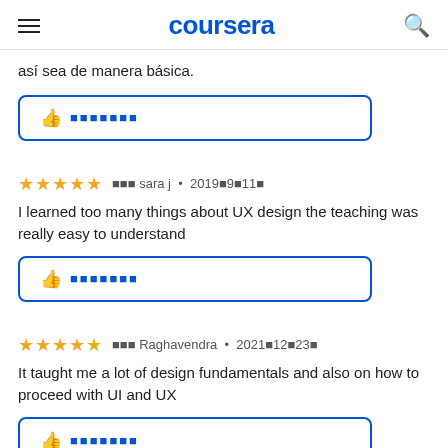coursera
así sea de manera básica.
[Figure (other): Helpful button with thumbs up icon and encoded text, blue outline rounded rectangle]
★★★★★ ××× sara j • 2019×9×11× — I learned too many things about UX design the teaching was really easy to understand
[Figure (other): Helpful button with thumbs up icon and encoded text, blue outline rounded rectangle]
★★★★★ ××× Raghavendra • 2021×12×23× — It taught me a lot of design fundamentals and also on how to proceed with UI and UX
[Figure (other): Helpful button with thumbs up icon and encoded text, blue outline rounded rectangle (partially visible)]